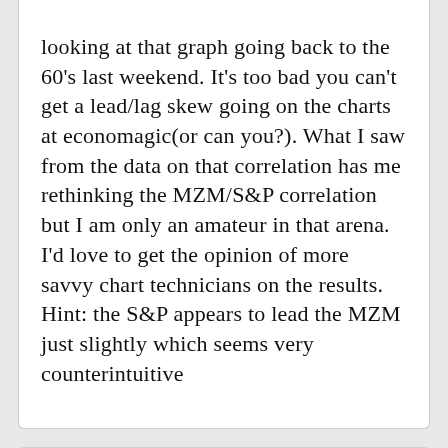looking at that graph going back to the 60's last weekend. It's too bad you can't get a lead/lag skew going on the charts at economagic(or can you?). What I saw from the data on that correlation has me rethinking the MZM/S&P correlation but I am only an amateur in that arena. I'd love to get the opinion of more savvy chart technicians on the results. Hint: the S&P appears to lead the MZM just slightly which seems very counterintuitive
winjr commented on Dec 12
[Figure (other): Advertisement overlay with text 'China tensions making you nervous?' and a close button]
"Yeah, you do, because it's significantly b...